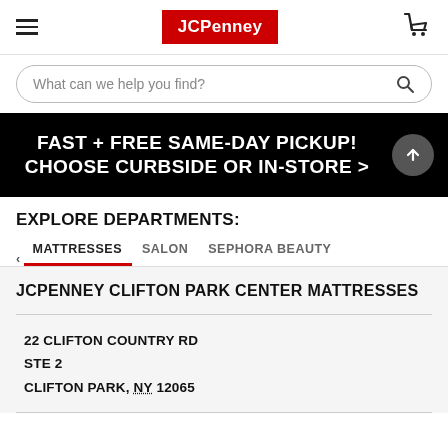JCPenney
What can we help you find?
FAST + FREE SAME-DAY PICKUP! CHOOSE CURBSIDE OR IN-STORE >
EXPLORE DEPARTMENTS:
MATTRESSES
SALON
SEPHORA BEAUTY
JCPENNEY CLIFTON PARK CENTER MATTRESSES
22 CLIFTON COUNTRY RD
STE 2
CLIFTON PARK, NY 12065